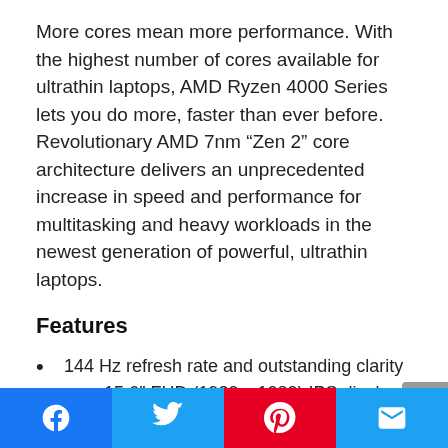More cores mean more performance. With the highest number of cores available for ultrathin laptops, AMD Ryzen 4000 Series lets you do more, faster than ever before. Revolutionary AMD 7nm “Zen 2” core architecture delivers an unprecedented increase in speed and performance for multitasking and heavy workloads in the newest generation of powerful, ultrathin laptops.
Features
144 Hz refresh rate and outstanding clarity on a 15.6″ FHD (1920 x 1080) IPS display
The NVIDIA GeForce GTX 1660Ti GPU is a blazing-fast supercharger for your favorite games and the